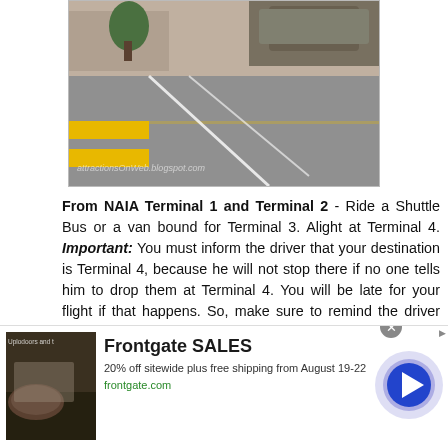[Figure (photo): Street-level photo of NAIA terminal area showing pedestrian crossing with yellow stripes, parked cars, and people. Watermark text: attractionsOnWeb.blogspot.com]
From NAIA Terminal 1 and Terminal 2 - Ride a Shuttle Bus or a van bound for Terminal 3. Alight at Terminal 4. Important: You must inform the driver that your destination is Terminal 4, because he will not stop there if no one tells him to drop them at Terminal 4. You will be late for your flight if that happens. So, make sure to remind the driver and be alert. If you don't know the location of NAIA Shuttles at Terminal 1 & 2, please go to NAIA 1-2-3 Shuttle Bus: Easy Way To Get To & From NAIA Terminals
Reminder: NAIA Shuttles are convenient and
[Figure (screenshot): Advertisement banner for Frontgate SALES: 20% off sitewide plus free shipping from August 19-22. frontgate.com. Shows outdoor furniture photo on the left and a blue arrow button on the right.]